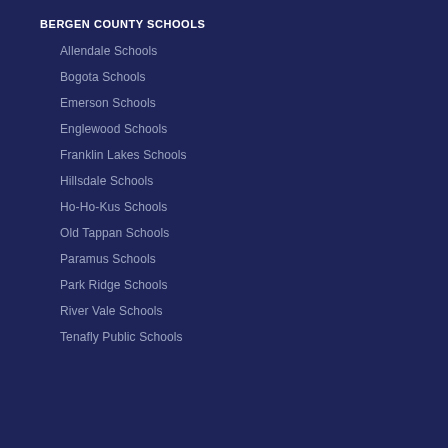BERGEN COUNTY SCHOOLS
Allendale Schools
Bogota Schools
Emerson Schools
Englewood Schools
Franklin Lakes Schools
Hillsdale Schools
Ho-Ho-Kus Schools
Old Tappan Schools
Paramus Schools
Park Ridge Schools
River Vale Schools
Tenafly Public Schools